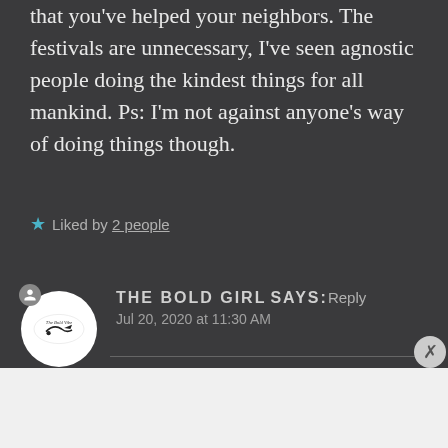that you've helped your neighbors. The festivals are unnecessary, I've seen agnostic people doing the kindest things for all mankind. Ps: I'm not against anyone's way of doing things though.
★ Liked by 2 people
THE BOLD GIRL says: Reply
Jul 20, 2020 at 11:30 AM
Advertisements
[Figure (logo): WordPress.com logo with Start Today button in a pink advertisement banner]